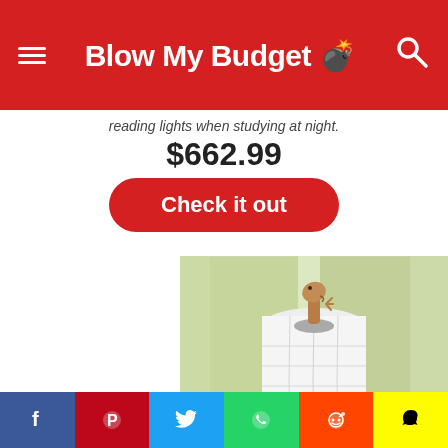Blow My Budget 💣
reading lights when studying at night.
$662.99
Check it out
[Figure (photo): A paper towel roll with a small dinosaur/creature emerging from the top center, photographed in front of a frosted glass window with green panels]
[Figure (photo): Kitchen counter scene showing a white coffee cup, orange, and green apple next to a paper towel holder]
Facebook | Pinterest | Twitter | WhatsApp | Reddit | Snapchat